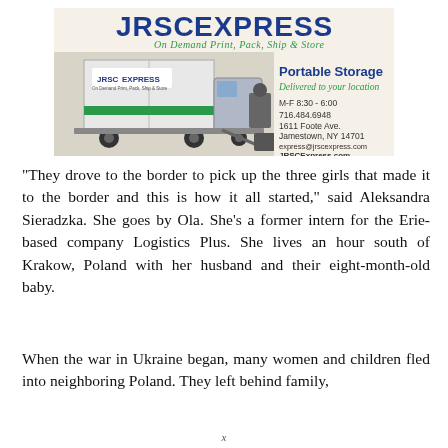[Figure (advertisement): JRSC Express advertisement showing a logo, truck with portable storage container, text 'Portable Storage Delivered to your location', hours M-F 8:30-6:00, phone 716.484.6948, address 1611 Foote Ave. Jamestown NY 14701, email express@jrscexpress.com, website JRSCExpress.com]
“They drove to the border to pick up the three girls that made it to the border and this is how it all started,” said Aleksandra Sieradzka. She goes by Ola. She’s a former intern for the Erie-based company Logistics Plus. She lives an hour south of Krakow, Poland with her husband and their eight-month-old baby.
When the war in Ukraine began, many women and children fled into neighboring Poland. They left behind family,
x